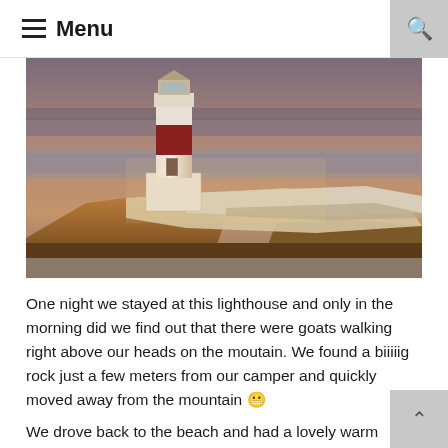☰ Menu
[Figure (photo): A red and white lighthouse standing on a rocky cliff at sunset or golden hour, with a concrete platform/walkway extending from the base. The sky is overcast with warm golden light illuminating the lighthouse and rocks.]
One night we stayed at this lighthouse and only in the morning did we find out that there were goats walking right above our heads on the moutain. We found a biiiiig rock just a few meters from our camper and quickly moved away from the mountain 😬
We drove back to the beach and had a lovely warm day there